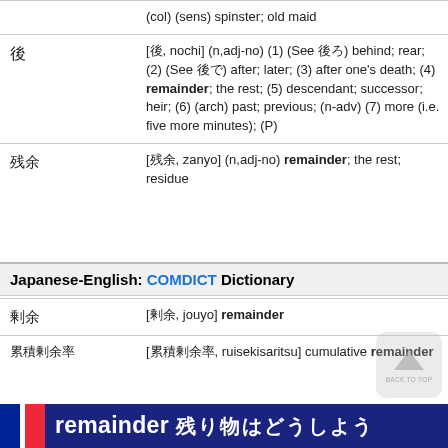|  | (col) (sens) spinster; old maid |
| 後 | [後, nochi] (n,adj-no) (1) (See 後ろ) behind; rear; (2) (See 後で) after; later; (3) after one's death; (4) remainder; the rest; (5) descendant; successor; heir; (6) (arch) past; previous; (n-adv) (7) more (i.e. five more minutes); (P) |
| 残余 | [残余, zanyo] (n,adj-no) remainder; the rest; residue |
Japanese-English: COMDICT Dictionary
| 剰余 | [剰余, jouyo] remainder |
| 累積剰余率 | [累積剰余率, ruisekisaritsu] cumulative remainder |
remainder 残り物はどうしよう